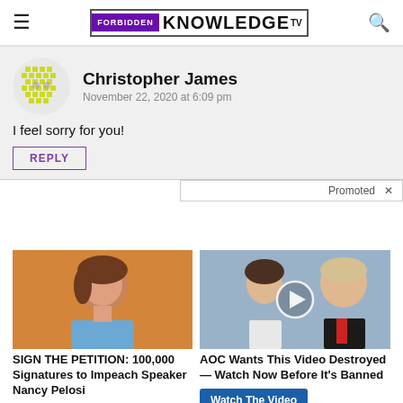FORBIDDEN KNOWLEDGE TV
Christopher James
November 22, 2020 at 6:09 pm
I feel sorry for you!
REPLY
Promoted
[Figure (photo): Photo of Nancy Pelosi]
SIGN THE PETITION: 100,000 Signatures to Impeach Speaker Nancy Pelosi
Sign Here
[Figure (photo): Photo of Melania and Donald Trump with play button overlay]
AOC Wants This Video Destroyed — Watch Now Before It's Banned
Watch The Video